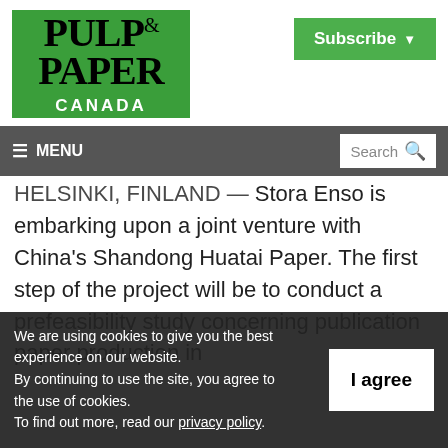[Figure (logo): Pulp & Paper Canada logo — green background with black serif text PULP & PAPER and white sans-serif text CANADA]
[Figure (other): Subscribe button — green with white bold text 'Subscribe' and dropdown arrow]
≡ MENU   Search
HELSINKI, FINLAND — Stora Enso is embarking upon a joint venture with China's Shandong Huatai Paper. The first step of the project will be to conduct a prefeasibility study concerning publication paper production in
We are using cookies to give you the best experience on our website.
By continuing to use the site, you agree to the use of cookies.
To find out more, read our privacy policy.